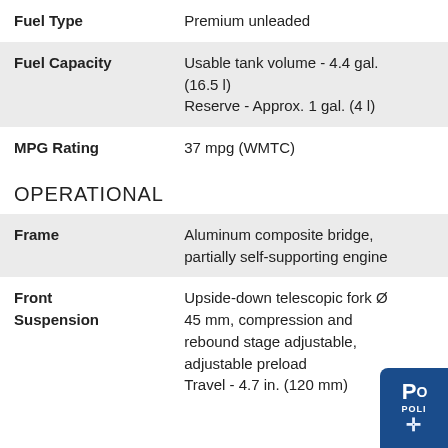| Specification | Value |
| --- | --- |
| Fuel Type | Premium unleaded |
| Fuel Capacity | Usable tank volume - 4.4 gal. (16.5 l)
Reserve - Approx. 1 gal. (4 l) |
| MPG Rating | 37 mpg (WMTC) |
OPERATIONAL
| Specification | Value |
| --- | --- |
| Frame | Aluminum composite bridge, partially self-supporting engine |
| Front Suspension | Upside-down telescopic fork Ø 45 mm, compression and rebound stage adjustable, adjustable preload
Travel - 4.7 in. (120 mm) |